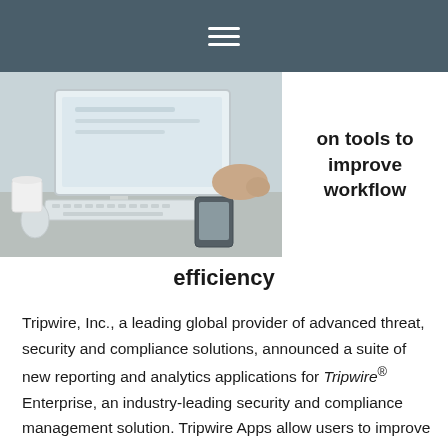≡
[Figure (photo): Photo of a person working at a desktop computer with a smartphone on the desk, bright and minimalist office setting.]
on tools to improve workflow efficiency
Tripwire, Inc., a leading global provider of advanced threat, security and compliance solutions, announced a suite of new reporting and analytics applications for Tripwire® Enterprise, an industry-leading security and compliance management solution. Tripwire Apps allow users to improve workflow efficiency through integration